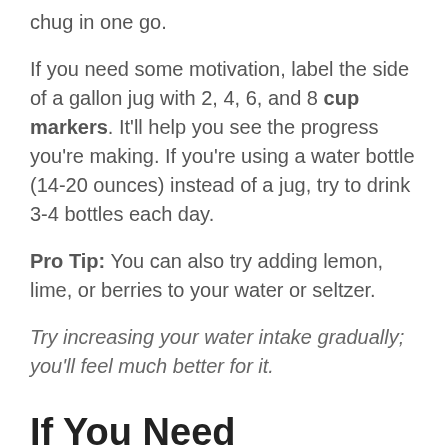chug in one go.
If you need some motivation, label the side of a gallon jug with 2, 4, 6, and 8 cup markers. It'll help you see the progress you're making. If you're using a water bottle (14-20 ounces) instead of a jug, try to drink 3-4 bottles each day.
Pro Tip: You can also try adding lemon, lime, or berries to your water or seltzer.
Try increasing your water intake gradually; you'll feel much better for it.
If You Need Motivation
Being healthier might not be motivation enough to